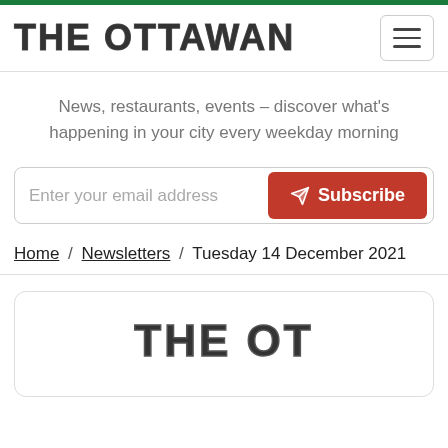THE OTTAWAN
News, restaurants, events – discover what's happening in your city every weekday morning
Enter your email address  Subscribe
Home / Newsletters / Tuesday 14 December 2021
[Figure (logo): The Ottawan logo in large block serif letters partially visible at bottom of page]